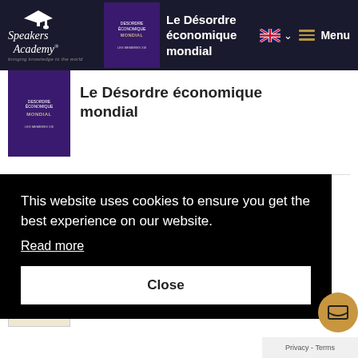Le Désordre économique mondial — Speakers Academy
[Figure (illustration): Book cover: Le Désordre économique mondial, purple cover]
Le Désordre économique mondial
[Figure (illustration): Book cover: Essais d'économie parétienne, yellow/cream cover]
Essais d'économie parétienne
This website uses cookies to ensure you get the best experience on our website.
Read more
Close
[Figure (illustration): Third book thumbnail at bottom of page]
Privacy - Terms